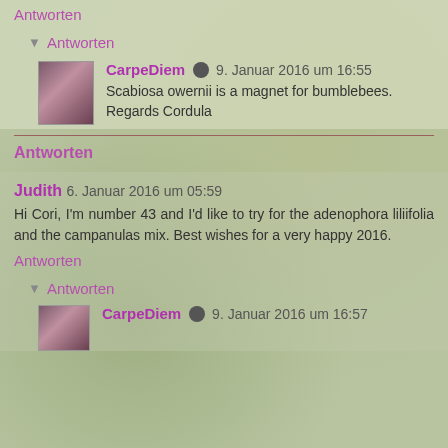Antworten
▼ Antworten
CarpeDiem 🖊 9. Januar 2016 um 16:55
Scabiosa owernii is a magnet for bumblebees. Regards Cordula
Antworten
Judith 6. Januar 2016 um 05:59
Hi Cori, I'm number 43 and I'd like to try for the adenophora liliifolia and the campanulas mix. Best wishes for a very happy 2016.
Antworten
▼ Antworten
CarpeDiem 🖊 9. Januar 2016 um 16:57